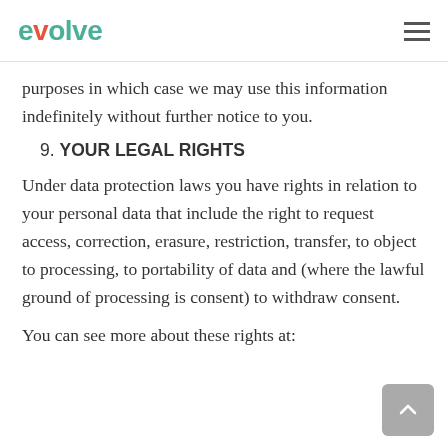evolve
purposes in which case we may use this information indefinitely without further notice to you.
9. YOUR LEGAL RIGHTS
Under data protection laws you have rights in relation to your personal data that include the right to request access, correction, erasure, restriction, transfer, to object to processing, to portability of data and (where the lawful ground of processing is consent) to withdraw consent.
You can see more about these rights at: